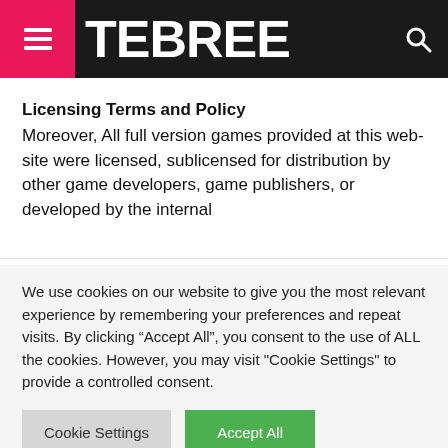TEBREE
Licensing Terms and Policy
Moreover, All full version games provided at this web-site were licensed, sublicensed for distribution by other game developers, game publishers, or developed by the internal
We use cookies on our website to give you the most relevant experience by remembering your preferences and repeat visits. By clicking “Accept All”, you consent to the use of ALL the cookies. However, you may visit "Cookie Settings" to provide a controlled consent.